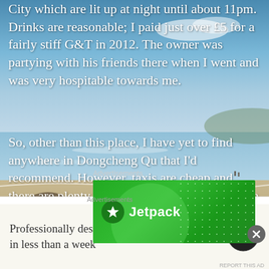City which are lit up at night until about 11pm. Drinks are reasonable; I paid just over £5 for a fairly stiff G&T in 2012. The owner was partying with his friends there when I went and was very hospitable towards me.
So, other than this place, I have yet to find anywhere in Dongcheng Qu that I'd recommend. However, taxis are cheap and there are plenty of other good places to go. The nearest branch of the famous Dadong duck restaurant is only a fifteen minute walk if you can get in there (see Beijing – Fancy a Duck? post).
[Figure (photo): Background photo of a beach scene with blue sky, calm water, sandy shore with rocks, and a few people in the distance]
Advertisements
[Figure (logo): Jetpack advertisement banner with green background, Jetpack logo icon and name in white text, decorative circles and dot pattern]
Advertisements
[Figure (logo): WordPress advertisement: 'Professionally designed sites in less than a week' with WordPress logo on the right, on a cream/off-white background]